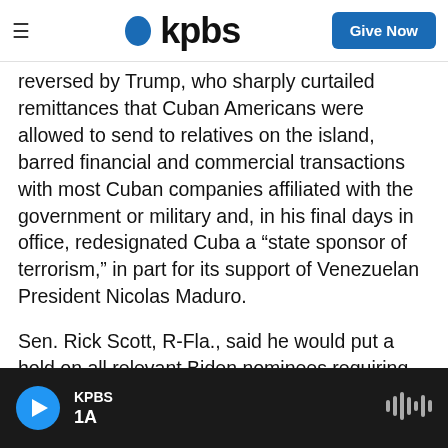KPBS — Give Now
reversed by Trump, who sharply curtailed remittances that Cuban Americans were allowed to send to relatives on the island, barred financial and commercial transactions with most Cuban companies affiliated with the government or military and, in his final days in office, redesignated Cuba a “state sponsor of terrorism,” in part for its support of Venezuelan President Nicolas Maduro.
Sen. Rick Scott, R-Fla., said he would put a hold on all relevant Biden nominees requiring Senate confirmation until the decision is reversed.
“Biden can frame this however he wants, but this is
KPBS | 1A